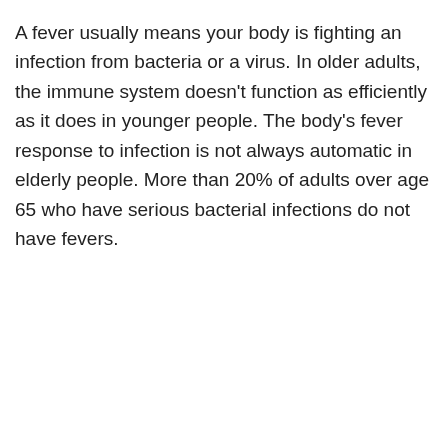A fever usually means your body is fighting an infection from bacteria or a virus. In older adults, the immune system doesn't function as efficiently as it does in younger people. The body's fever response to infection is not always automatic in elderly people. More than 20% of adults over age 65 who have serious bacterial infections do not have fevers.